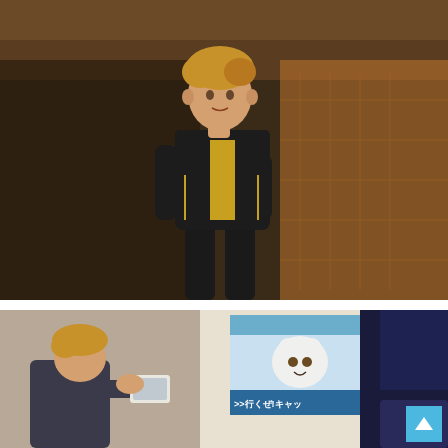[Figure (illustration): Anime screenshot of a young male character with short blonde/brown hair wearing a black tracksuit jacket over a yellow hoodie, standing outdoors in front of a building structure with warm brownish-orange lighting in the background.]
[Figure (illustration): Anime screenshot showing two characters: a blonde/brown haired character in the lower left holding what appears to be a card or phone, and a dark blue-haired character on the right seen from behind. In the background there is a Japanese anime movie or show poster featuring a cartoon cat mascot and the text '行くぜ!キャッツ' with a blue and white visual style.]